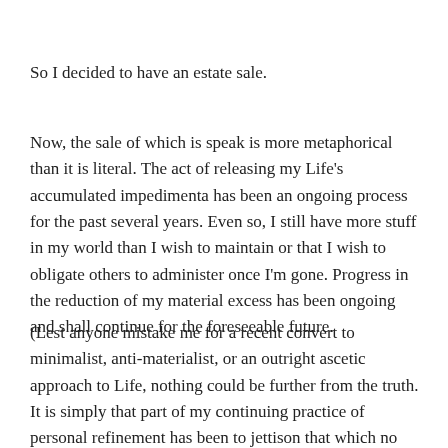So I decided to have an estate sale.
Now, the sale of which is speak is more metaphorical than it is literal. The act of releasing my Life's accumulated impedimenta has been an ongoing process for the past several years. Even so, I still have more stuff in my world than I wish to maintain or that I wish to obligate others to administer once I'm gone. Progress in the reduction of my material excess has been ongoing and shall continue for the foreseeable future.
(Lest anyone mistake me for a recent convert to minimalist, anti-materialist, or an outright ascetic approach to Life, nothing could be further from the truth. It is simply that part of my continuing practice of personal refinement has been to jettison that which no longer serves or brings me Joy while